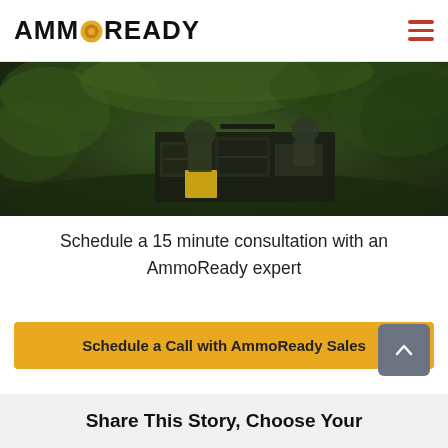AMMOREADY
[Figure (photo): Military soldiers in camouflage uniforms crouching behind stacked ammunition crates in a dense jungle/forest setting with green foliage and moss-covered rocks]
Schedule a 15 minute consultation with an AmmoReady expert
Schedule a Call with AmmoReady Sales
Share This Story, Choose Your